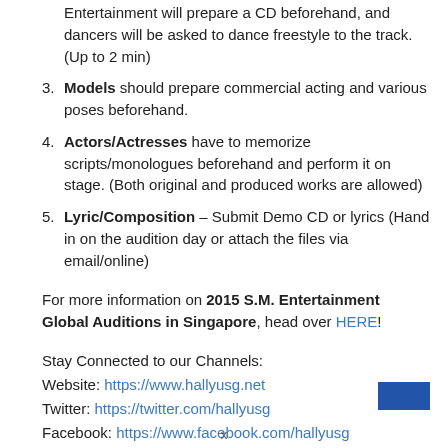Entertainment will prepare a CD beforehand, and dancers will be asked to dance freestyle to the track. (Up to 2 min)
Models should prepare commercial acting and various poses beforehand.
Actors/Actresses have to memorize scripts/monologues beforehand and perform it on stage. (Both original and produced works are allowed)
Lyric/Composition – Submit Demo CD or lyrics (Hand in on the audition day or attach the files via email/online)
For more information on 2015 S.M. Entertainment Global Auditions in Singapore, head over HERE!
Stay Connected to our Channels:
Website: https://www.hallyusg.net
Twitter: https://twitter.com/hallyusg
Facebook: https://www.facebook.com/hallyusg
Instagram: http://instagram.com/hallyusg